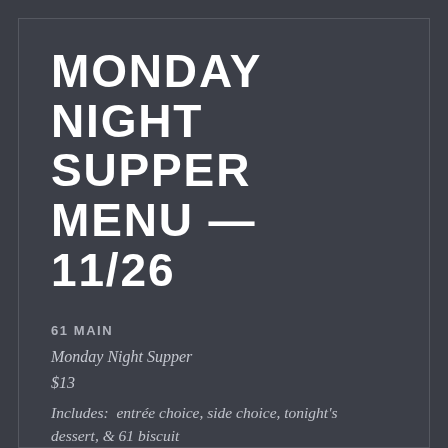MONDAY NIGHT SUPPER MENU — 11/26
61 MAIN
Monday Night Supper
$13
Includes: entrée choice, side choice, tonight's dessert, & 61 biscuit
Entrees